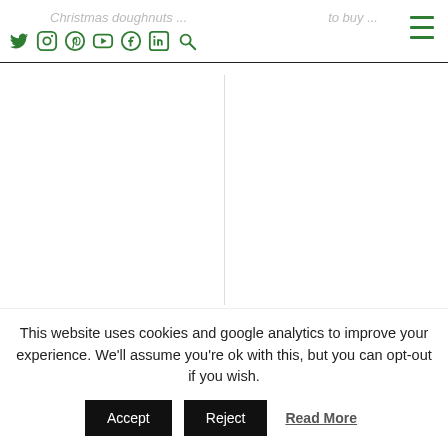Christmas doughnuts ... to buy ... [social icons: Twitter, Instagram, Pinterest, YouTube, Facebook, LinkedIn, Search] [hamburger menu]
Exclusive Q&A: Tom Fletcher tells us …
BBC Radio and BBC Sounds Christmas 2021 shows …
« PREVIOUS POST    NEXT POST »
This website uses cookies and google analytics to improve your experience. We'll assume you're ok with this, but you can opt-out if you wish.  Accept  Reject  Read More